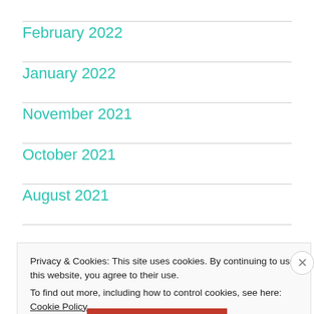February 2022
January 2022
November 2021
October 2021
August 2021
Privacy & Cookies: This site uses cookies. By continuing to use this website, you agree to their use.
To find out more, including how to control cookies, see here: Cookie Policy
Close and accept